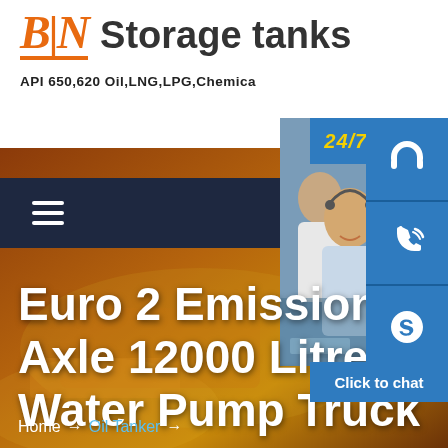[Figure (logo): BIN Storage tanks logo with orange italic bold text and underline, followed by gray bold text 'Storage tanks']
API 650,620 Oil,LNG,LPG,Chemical
[Figure (screenshot): Website navigation bar with dark navy background and hamburger menu icon (three horizontal white lines)]
[Figure (photo): Customer support representatives at computers with headsets, smiling. Overlaid with 24/7 hour badge and contact icons (headset, phone, Skype) plus 'Click to chat' bar]
Euro 2 Emission S... Axle 12000 Litres Shacman Water Pump Truck
Home → Oil Tanker →